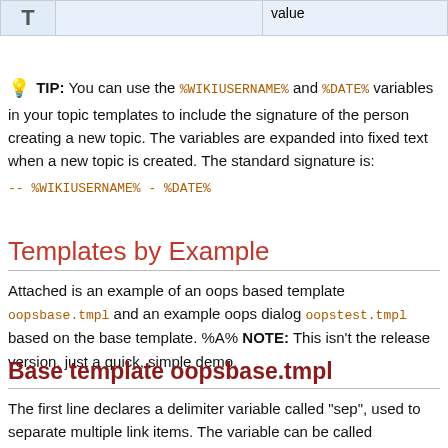|  |  | value |
| --- | --- | --- |
| T |  | value |
TIP: You can use the %WIKIUSERNAME% and %DATE% variables in your topic templates to include the signature of the person creating a new topic. The variables are expanded into fixed text when a new topic is created. The standard signature is: -- %WIKIUSERNAME% - %DATE%
Templates by Example
Attached is an example of an oops based template oopsbase.tmpl and an example oops dialog oopstest.tmpl based on the base template. %A% NOTE: This isn't the release version, just a quick, simple demo.
Base template oopsbase.tmpl
The first line declares a delimiter variable called "sep", used to separate multiple link items. The variable can be called anywhere by writing %TMPL:P{"sep"}%